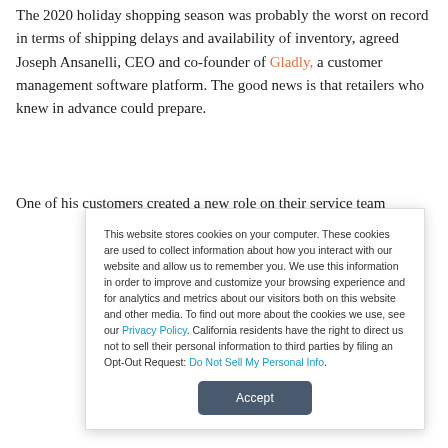The 2020 holiday shopping season was probably the worst on record in terms of shipping delays and availability of inventory, agreed Joseph Ansanelli, CEO and co-founder of Gladly, a customer management software platform. The good news is that retailers who knew in advance could prepare.
One of his customers created a new role on their service team
This website stores cookies on your computer. These cookies are used to collect information about how you interact with our website and allow us to remember you. We use this information in order to improve and customize your browsing experience and for analytics and metrics about our visitors both on this website and other media. To find out more about the cookies we use, see our Privacy Policy. California residents have the right to direct us not to sell their personal information to third parties by filing an Opt-Out Request: Do Not Sell My Personal Info.